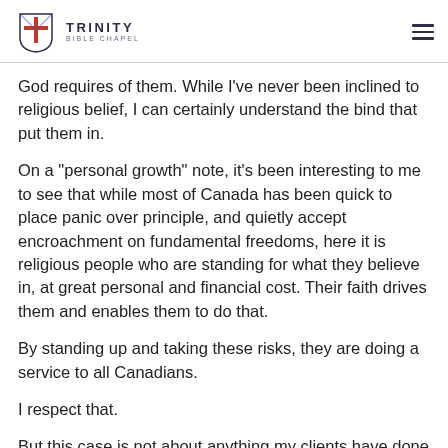Trinity Bible Chapel
God requires of them. While I've never been inclined to religious belief, I can certainly understand the bind that put them in.
On a "personal growth" note, it's been interesting to me to see that while most of Canada has been quick to place panic over principle, and quietly accept encroachment on fundamental freedoms, here it is religious people who are standing for what they believe in, at great personal and financial cost. Their faith drives them and enables them to do that.
By standing up and taking these risks, they are doing a service to all Canadians.
I respect that.
But this case is not about anything my clients have done or have not done. It is about about the future of the